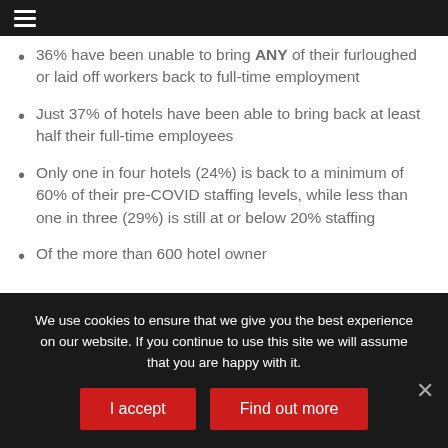36% have been unable to bring ANY of their furloughed or laid off workers back to full-time employment
Just 37% of hotels have been able to bring back at least half their full-time employees
Only one in four hotels (24%) is back to a minimum of 60% of their pre-COVID staffing levels, while less than one in three (29%) is still at or below 20% staffing
Of the more than 600 hotel owner
We use cookies to ensure that we give you the best experience on our website. If you continue to use this site we will assume that you are happy with it.